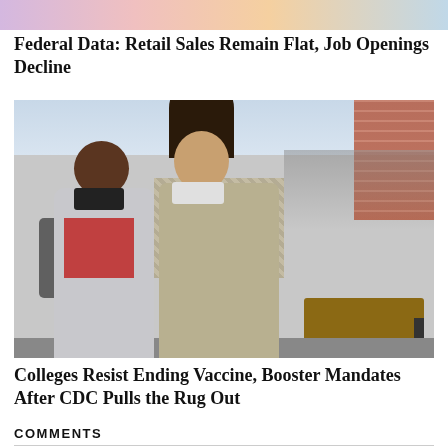[Figure (photo): Partial top image showing colorful background, cropped at top of page]
Federal Data: Retail Sales Remain Flat, Job Openings Decline
[Figure (photo): Two young women wearing face masks walking outdoors in an urban setting with benches and brick wall in background]
Colleges Resist Ending Vaccine, Booster Mandates After CDC Pulls the Rug Out
COMMENTS